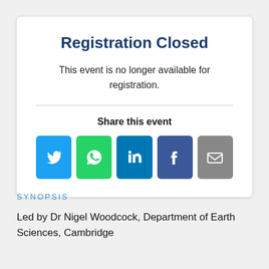Registration Closed
This event is no longer available for registration.
Share this event
[Figure (infographic): Row of five social media/share icon buttons: Twitter (blue bird), WhatsApp (green phone), LinkedIn (dark blue 'in'), Facebook (dark blue 'f'), Email (grey envelope)]
SYNOPSIS
Led by Dr Nigel Woodcock, Department of Earth Sciences, Cambridge